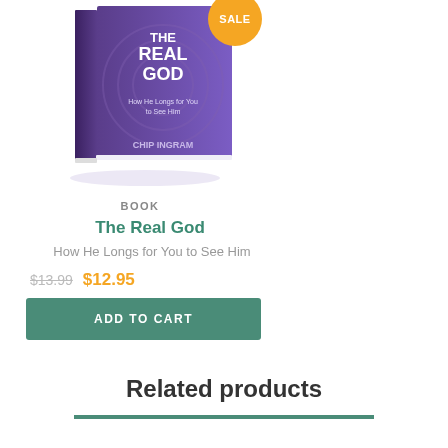[Figure (illustration): A purple book titled 'The Real God - How He Longs for You to See Him' by Chip Ingram, shown at an angle with a reflection. An orange circular SALE badge is in the top right corner of the book.]
BOOK
The Real God
How He Longs for You to See Him
$13.99  $12.95
ADD TO CART
Related products